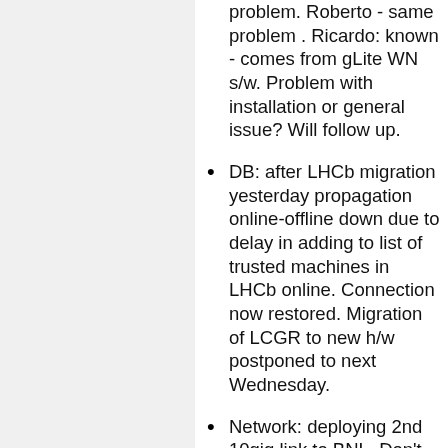problem. Roberto - same problem . Ricardo: known - comes from gLite WN s/w. Problem with installation or general issue? Will follow up.
DB: after LHCb migration yesterday propagation online-offline down due to delay in adding to list of trusted machines in LHCb online. Connection now restored. Migration of LCGR to new h/w postponed to next Wednesday.
Network: deploying 2nd 10gig link to BNL. Don't